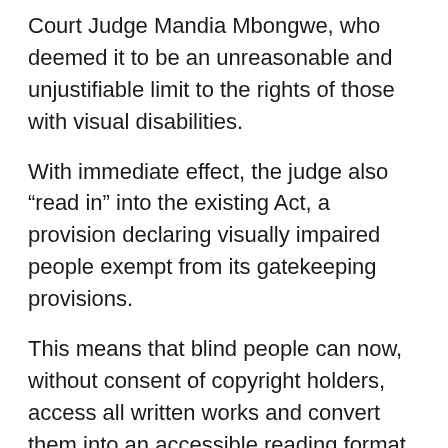Court Judge Mandia Mbongwe, who deemed it to be an unreasonable and unjustifiable limit to the rights of those with visual disabilities.
With immediate effect, the judge also “read in” into the existing Act, a provision declaring visually impaired people exempt from its gatekeeping provisions.
This means that blind people can now, without consent of copyright holders, access all written works and convert them into an accessible reading format, be it traditional braille, or other more contemporary means.
The application was launched by Blind SA, represented by SECTION27, against the Minister of Trade, Industry and Competition. They asked the court to declare the provisions of the Act unconstitutional. The Act was was promulgated